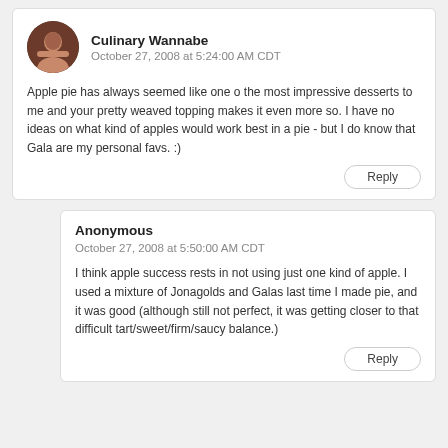Culinary Wannabe
October 27, 2008 at 5:24:00 AM CDT
Apple pie has always seemed like one o the most impressive desserts to me and your pretty weaved topping makes it even more so. I have no ideas on what kind of apples would work best in a pie - but I do know that Gala are my personal favs. :)
Reply
Anonymous
October 27, 2008 at 5:50:00 AM CDT
I think apple success rests in not using just one kind of apple. I used a mixture of Jonagolds and Galas last time I made pie, and it was good (although still not perfect, it was getting closer to that difficult tart/sweet/firm/saucy balance.)
Reply